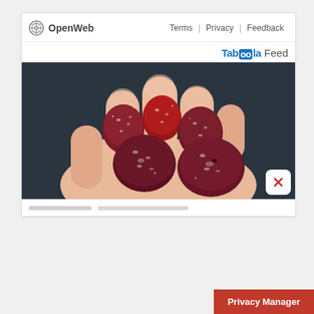OpenWeb   Terms | Privacy | Feedback
Taboola Feed
[Figure (photo): A hand holding several sugar-coated red/dark berry gummy candies against a dark background]
Privacy Manager